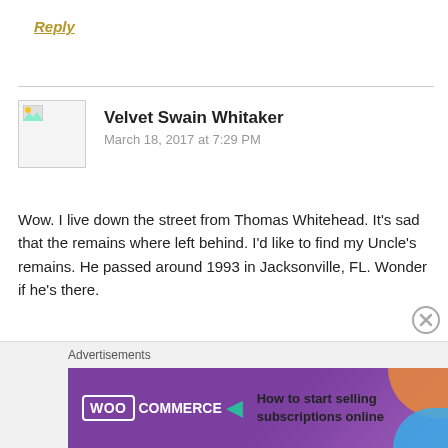Reply
[Figure (other): Horizontal divider line separating comment sections]
[Figure (photo): Avatar placeholder image icon for commenter Velvet Swain Whitaker]
Velvet Swain Whitaker
March 18, 2017 at 7:29 PM
Wow. I live down the street from Thomas Whitehead. It’s sad that the remains where left behind. I’d like to find my Uncle’s remains. He passed around 1993 in Jacksonville, FL. Wonder if he’s there.
★ Liked by 1 person
[Figure (other): Close/dismiss button circle with X]
Advertisements
[Figure (other): WooCommerce advertisement banner: How to start selling subscriptions online]